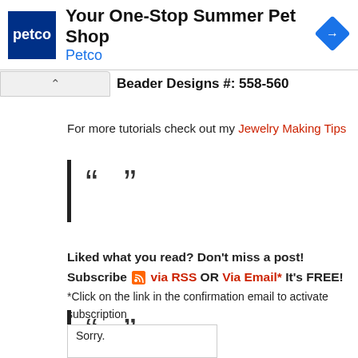[Figure (screenshot): Petco advertisement banner: 'Your One-Stop Summer Pet Shop' with Petco logo and blue diamond turn icon]
Beader Designs #: 558-560
For more tutorials check out my Jewelry Making Tips
[Figure (other): Blockquote decoration: vertical bar with open and close quotation mark symbols]
Liked what you read? Don't miss a post! Subscribe via RSS OR Via Email* It's FREE!
*Click on the link in the confirmation email to activate subscription
[Figure (other): Blockquote decoration: vertical bar with open and close quotation mark symbols]
[Figure (screenshot): Sorry box at bottom of page]